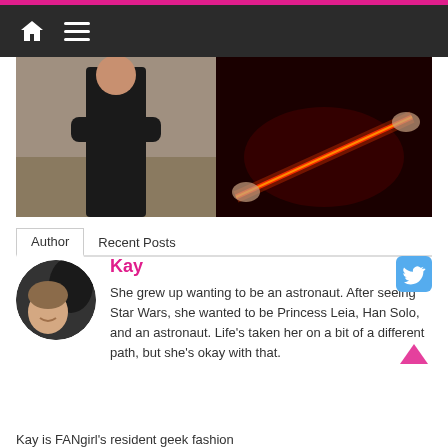[Figure (screenshot): Navigation bar with home icon and hamburger menu on dark background, with pink accent line at top]
[Figure (photo): Two side-by-side photos: left shows person in black outfit outdoors; right shows red lightsaber being held in dark setting]
Author   Recent Posts
[Figure (photo): Circular avatar photo of a smiling woman with dark background]
Kay
She grew up wanting to be an astronaut. After seeing Star Wars, she wanted to be Princess Leia, Han Solo, and an astronaut. Life's taken her on a bit of a different path, but she's okay with that.
Kay is FANgirl's resident geek fashion